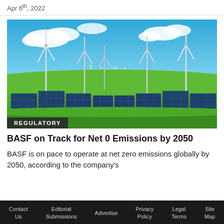Apr 6th, 2022
[Figure (photo): Illustration of solar panels and wind turbines on a green field under a blue sky with white clouds and a city skyline in the background.]
REGULATORY
BASF on Track for Net 0 Emissions by 2050
BASF is on pace to operate at net zero emissions globally by 2050, according to the company's
Contact Us   Editorial Submissions   Advertise   Privacy Policy   Legal Terms   Site Map